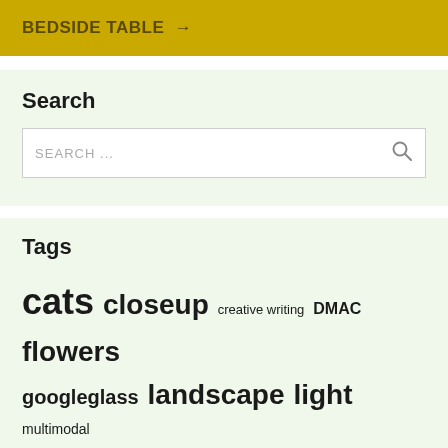BEDSIDE TABLE →
Search
SEARCH ...
Tags
cats closeup creative writing DMAC flowers googleglass landscape light multimodal pedagogy process social media spring summer